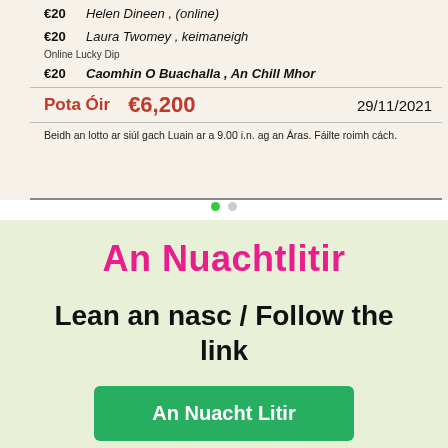[Figure (photo): A lotto results notice showing winners and prize amounts including Pota Óir €6,200 dated 29/11/2021]
An Nuachtlitir
Lean an nasc / Follow the link
An Nuacht Litir